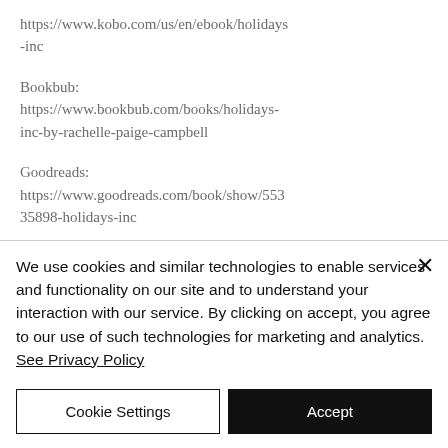https://www.kobo.com/us/en/ebook/holidays-inc
Bookbub:
https://www.bookbub.com/books/holidays-inc-by-rachelle-paige-campbell
Goodreads:
https://www.goodreads.com/book/show/55335898-holidays-inc
We use cookies and similar technologies to enable services and functionality on our site and to understand your interaction with our service. By clicking on accept, you agree to our use of such technologies for marketing and analytics. See Privacy Policy
Cookie Settings
Accept